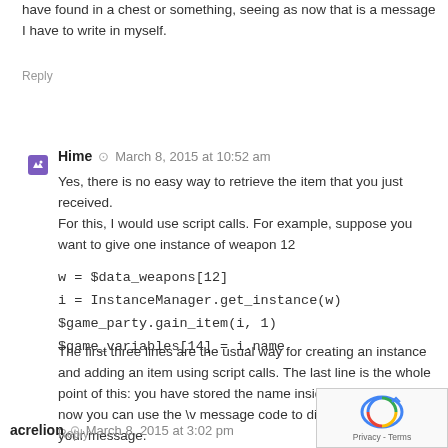have found in a chest or something, seeing as now that is a message I have to write in myself.
Reply
Hime  March 8, 2015 at 10:52 am
Yes, there is no easy way to retrieve the item that you just received.
For this, I would use script calls. For example, suppose you want to give one instance of weapon 12
w = $data_weapons[12]
i = InstanceManager.get_instance(w)
$game_party.gain_item(i, 1)
$game_variables[14] = i.name
The first three lines are the usual way for creating an instance and adding an item using script calls. The last line is the whole point of this: you have stored the name inside variable 14, so now you can use the \v message code to display the name in your message.
Reply
acrelion  March 8, 2015 at 3:02 pm